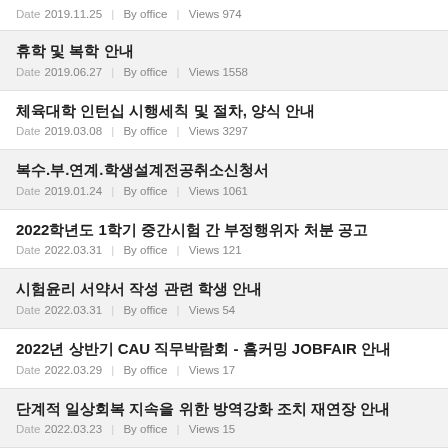Date 2019.11.25 | By office | Views 974
휴학 및 복학 안내
Date 2019.06.27 | By office | Views 1558
체육대학 인턴십 시행세칙 및 절차, 양식 안내
Date 2019.03.08 | By office | Views 3297
복수.부.연계.학생설계전공취소신청서
Date 2019.01.24 | By office | Views 1061
2022학년도 1학기 중간시험 간 부정행위자 처분 공고
Date 2022.03.31 | By office | Views 121
시험윤리 서약서 작성 관련 학생 안내
Date 2022.03.31 | By office | Views 54
2022년 상반기 CAU 직무박람회 - 홈커밍 JOBFAIR 안내
Date 2022.03.29 | By office | Views 17
단계적 일상회복 지속을 위한 방역강화 조치 재연장 안내
Date 2022.03.23 | By office | Views 15